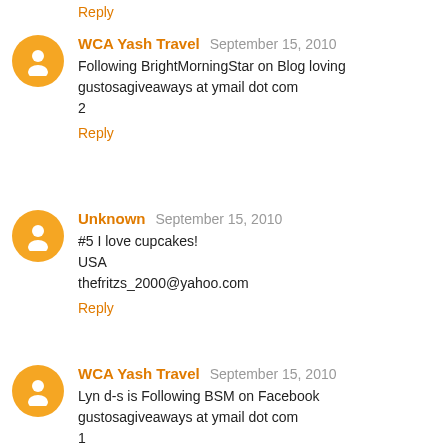Reply
WCA Yash Travel  September 15, 2010
Following BrightMorningStar on Blog loving
gustosagiveaways at ymail dot com
2
Reply
Unknown  September 15, 2010
#5 I love cupcakes!
USA
thefritzs_2000@yahoo.com
Reply
WCA Yash Travel  September 15, 2010
Lyn d-s is Following BSM on Facebook
gustosagiveaways at ymail dot com
1